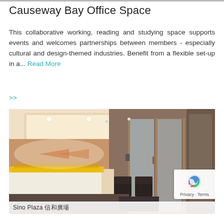Causeway Bay Office Space
This collaborative working, reading and studying space supports events and welcomes partnerships between members - especially cultural and design-themed industries. Benefit from a flexible set-up in a... Read More >>
[Figure (photo): Interior lobby/reception area of Sino Plaza office building in Causeway Bay, showing warm lighting, white reception counter with yellow backlit display, dark armchairs, and glass entrance doors with elevator on the right side.]
Sino Plaza 信和廣場